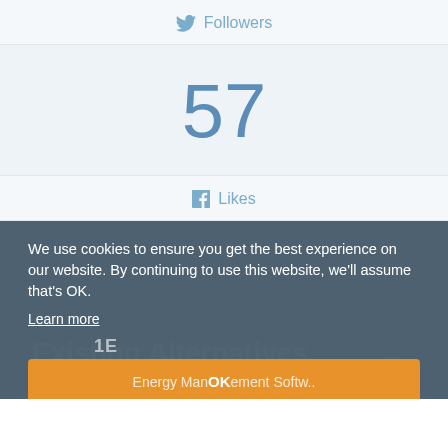Followers
57
Likes
Existing Alternatives
We use cookies to ensure you get the best experience on our website. By continuing to use this website, we'll assume that's OK.
Learn more
1E
Energy Management Softw..
OK
352  737  4,682  1,326